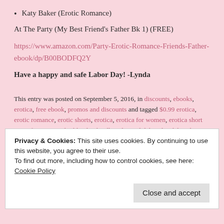Katy Baker (Erotic Romance)
At The Party (My Best Friend's Father Bk 1) (FREE)
https://www.amazon.com/Party-Erotic-Romance-Friends-Father-ebook/dp/B00BODFQ2Y
Have a happy and safe Labor Day! -Lynda
This entry was posted on September 5, 2016, in discounts, ebooks, erotica, free ebook, promos and discounts and tagged $0.99 erotica, erotic romance, erotic shorts, erotica, erotica for women, erotica short story, free erotica, highlander, kindle unlimited, labor day, labor day erotica deals, labor day last chance, labor day sale, labor day weekend, lynda belle, scottish, scottish erotic romance.
Privacy & Cookies: This site uses cookies. By continuing to use this website, you agree to their use. To find out more, including how to control cookies, see here: Cookie Policy
Close and accept